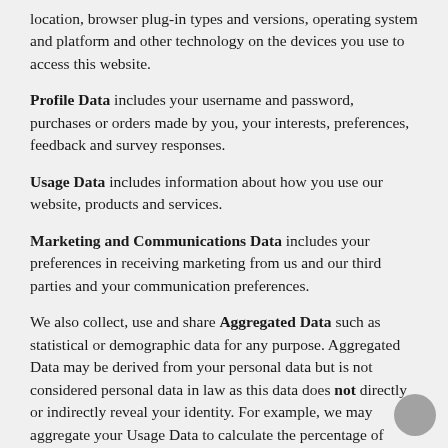location, browser plug-in types and versions, operating system and platform and other technology on the devices you use to access this website.
Profile Data includes your username and password, purchases or orders made by you, your interests, preferences, feedback and survey responses.
Usage Data includes information about how you use our website, products and services.
Marketing and Communications Data includes your preferences in receiving marketing from us and our third parties and your communication preferences.
We also collect, use and share Aggregated Data such as statistical or demographic data for any purpose. Aggregated Data may be derived from your personal data but is not considered personal data in law as this data does not directly or indirectly reveal your identity. For example, we may aggregate your Usage Data to calculate the percentage of users accessing